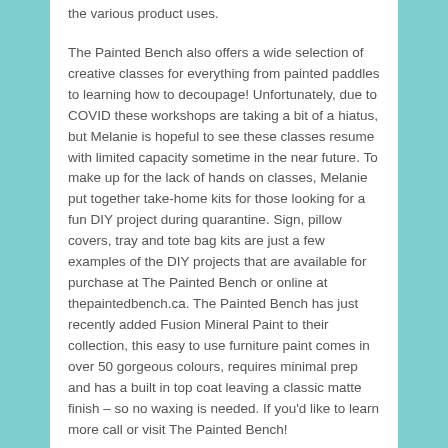the various product uses.
The Painted Bench also offers a wide selection of creative classes for everything from painted paddles to learning how to decoupage! Unfortunately, due to COVID these workshops are taking a bit of a hiatus, but Melanie is hopeful to see these classes resume with limited capacity sometime in the near future. To make up for the lack of hands on classes, Melanie put together take-home kits for those looking for a fun DIY project during quarantine. Sign, pillow covers, tray and tote bag kits are just a few examples of the DIY projects that are available for purchase at The Painted Bench or online at thepaintedbench.ca. The Painted Bench has just recently added Fusion Mineral Paint to their collection, this easy to use furniture paint comes in over 50 gorgeous colours, requires minimal prep and has a built in top coat leaving a classic matte finish – so no waxing is needed. If you'd like to learn more call or visit The Painted Bench!